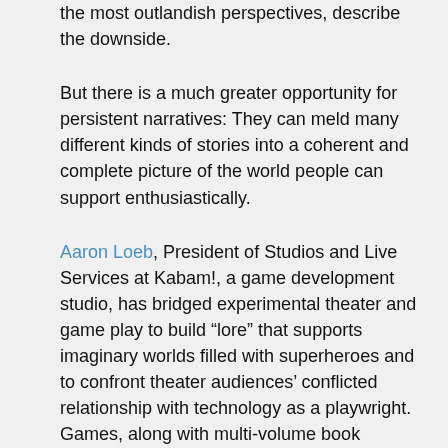the most outlandish perspectives, describe the downside.
But there is a much greater opportunity for persistent narratives: They can meld many different kinds of stories into a coherent and complete picture of the world people can support enthusiastically.
Aaron Loeb, President of Studios and Live Services at Kabam!, a game development studio, has bridged experimental theater and game play to build “lore” that supports imaginary worlds filled with superheroes and to confront theater audiences’ conflicted relationship with technology as a playwright. Games, along with multi-volume book series, such as the Harry Potter books and The Lord of the Rings, are built on shared lore that backfills the story, provides the myths that rein in the world, and establish character motivations the gameplay does not have the capacity to cover.
Movie and television series are other artistic examples of persistent narrative. Cosplayers, Trekkies, and Americans (cont'd)...